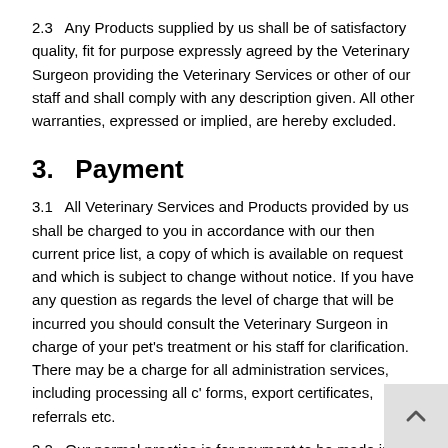2.3   Any Products supplied by us shall be of satisfactory quality, fit for purpose expressly agreed by the Veterinary Surgeon providing the Veterinary Services or other of our staff and shall comply with any description given. All other warranties, expressed or implied, are hereby excluded.
3.   Payment
3.1   All Veterinary Services and Products provided by us shall be charged to you in accordance with our then current price list, a copy of which is available on request and which is subject to change without notice. If you have any question as regards the level of charge that will be incurred you should consult the Veterinary Surgeon in charge of your pet's treatment or his staff for clarification. There may be a charge for all administration services, including processing all c' forms, export certificates, referrals etc.
3.2   Our normal practice is for payment to be made in full by